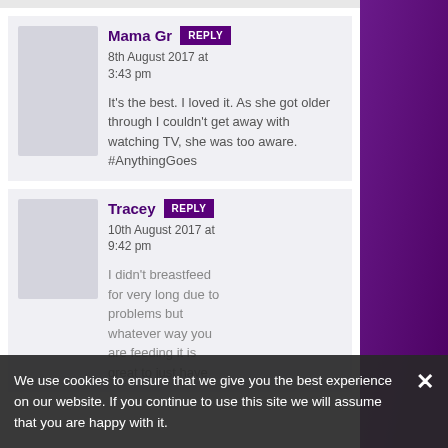Mama Gr...
8th August 2017 at 3:43 pm
It's the best. I loved it. As she got older through I couldn't get away with watching TV, she was too aware. #AnythingGoes
Tracey
10th August 2017 at 9:42 pm
I didn't breastfeed for very long due to problems but whatever way you are feeding it is great to just have
We use cookies to ensure that we give you the best experience on our website. If you continue to use this site we will assume that you are happy with it.